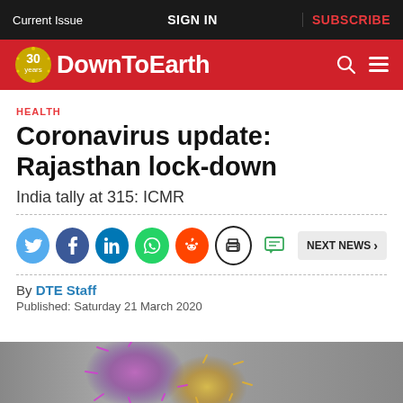Current Issue | SIGN IN | SUBSCRIBE
DownToEarth – 30 years
HEALTH
Coronavirus update: Rajasthan lock-down
India tally at 315: ICMR
By DTE Staff
Published: Saturday 21 March 2020
[Figure (photo): Close-up image of coronavirus particle with colorful spike proteins on grey background]